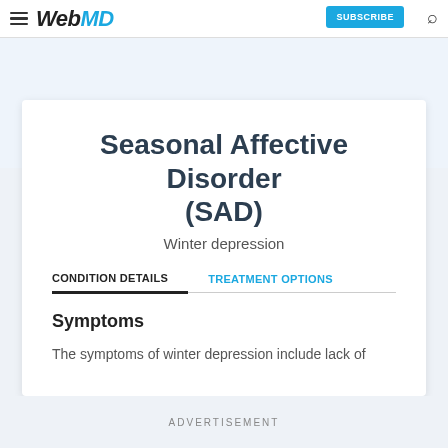WebMD
Seasonal Affective Disorder (SAD)
Winter depression
CONDITION DETAILS
TREATMENT OPTIONS
Symptoms
The symptoms of winter depression include lack of
ADVERTISEMENT